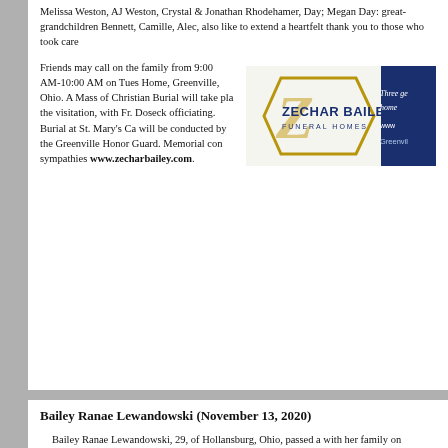Melissa Weston, AJ Weston, Crystal & Jonathan Rhodehamer, Day; Megan Day: great-grandchildren Bennett, Camille, Alec, also like to extend a heartfelt thank you to those who took care
Friends may call on the family from 9:00 AM-10:00 AM on Tuesday at Zechar Bailey Funeral Home, Greenville, Ohio. A Mass of Christian Burial will take place at 10:00 AM, immediately following the visitation, with Fr. Doseck officiating. Burial at St. Mary's Catholic Cemetery. Military rites will be conducted by the Greenville Honor Guard. Memorial contributions may be made. Share sympathies www.zecharbailey.com.
[Figure (logo): Zechar Bailey Funeral Homes logo — navy blue hexagonal badge with gold 'Z' script overlay, text 'ZECHAR BAILEY FUNERAL HOMES' in navy on white background, with tagline 'Three generations...' and 'www.' and 'Greenvi...' on right dark panel.]
Bailey Ranae Lewandowski (November 13, 2020)
Bailey Ranae Lewandowski, 29, of Hollansburg, Ohio, passed away with her family on November 13, 2020. She was born November...